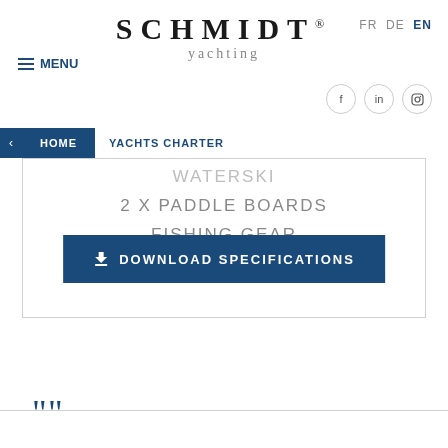SCHMIDT® yachting
FR DE EN
≡ MENU
< HOME | YACHTS CHARTER
WATERSKI
2 X PADDLE BOARDS
FISHING GEAR
SNORKELING GEAR
⬇ DOWNLOAD SPECIFICATIONS